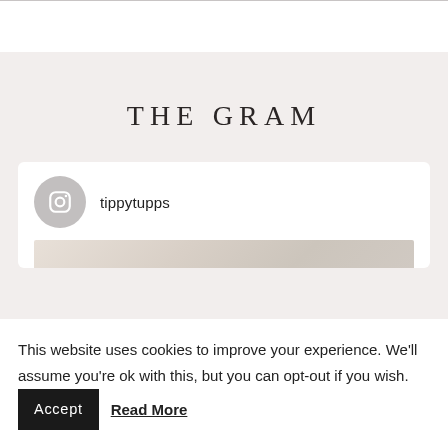THE GRAM
tippytupps
This website uses cookies to improve your experience. We'll assume you're ok with this, but you can opt-out if you wish.
Accept
Read More